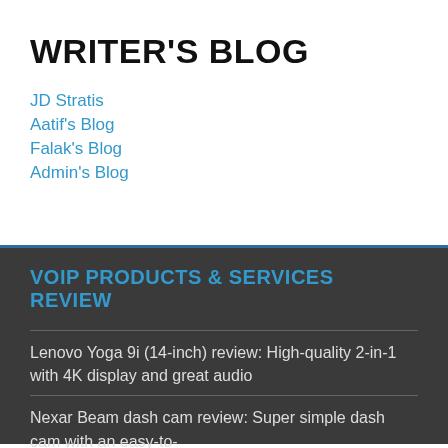WRITER'S BLOG
JD Stratis
Aatif's Blog
Falak's Blog
Admin's Blog
VOIP PRODUCTS & SERVICES REVIEW
Lenovo Yoga 9i (14-inch) review: High-quality 2-in-1 with 4K display and great audio
Nexar Beam dash cam review: Super simple dash cam with an easy-to-